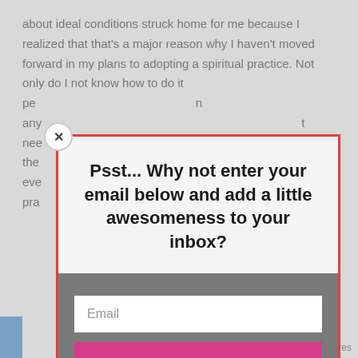about ideal conditions struck home for me because I realized that that's a major reason why I haven't moved forward in my plans to adopting a spiritual practice. Not only do I not know how to do it pe... n any... nee the eve pra...
[Figure (screenshot): Email subscription modal popup with red border. Top section has light gray background with bold text 'Psst... Why not enter your email below and add a little awesomeness to your inbox?'. Bottom section has dark gray background with white email input field and pink/magenta SUBSCRIBE! button. A close button (X) in a circle appears at top-left corner of the modal.]